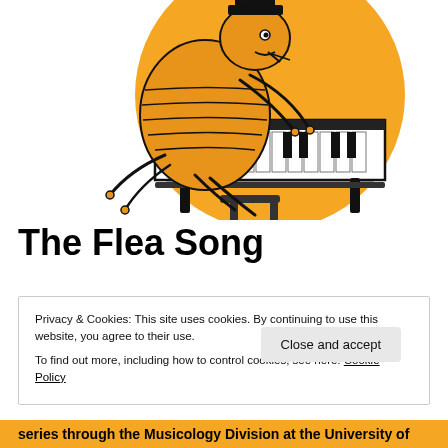[Figure (illustration): Cartoon illustration of a large flea/insect character wearing a hat and dress, playing a keyboard/piano instrument, set against a large orange circle background on a white background.]
The Flea Song
Privacy & Cookies: This site uses cookies. By continuing to use this website, you agree to their use.
To find out more, including how to control cookies, see here: Cookie Policy
series through the Musicology Division at the University of